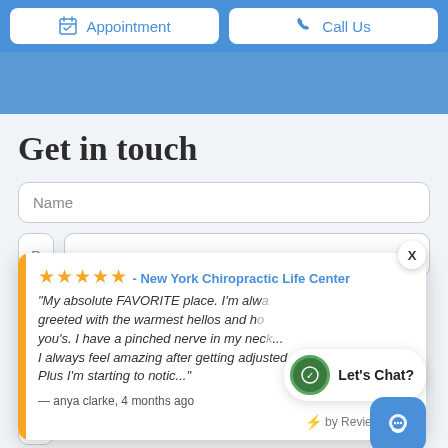[Figure (screenshot): Top navigation bar with Appointment and Call Us buttons on blue background]
[Figure (screenshot): Blue header band below navigation]
Get in touch
Name
[Figure (screenshot): Review popup card: 5 stars - New York Chiropractic Life Center. Quote: My absolute FAVORITE place. I'm always greeted with the warmest hellos and how are you's. I have a pinched nerve in my neck... I always feel amazing after getting adjusted. Plus I'm starting to notic... — anya clarke, 4 months ago. by Review Wave. X close button. Let's Chat? bubble. Blue chat button.]